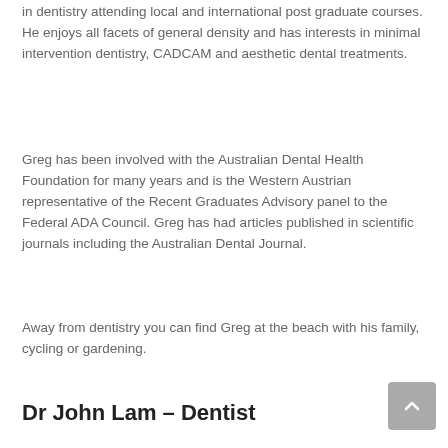in dentistry attending local and international post graduate courses. He enjoys all facets of general density and has interests in minimal intervention dentistry, CADCAM and aesthetic dental treatments.
Greg has been involved with the Australian Dental Health Foundation for many years and is the Western Austrian representative of the Recent Graduates Advisory panel to the Federal ADA Council. Greg has had articles published in scientific journals including the Australian Dental Journal.
Away from dentistry you can find Greg at the beach with his family, cycling or gardening.
Dr John Lam – Dentist